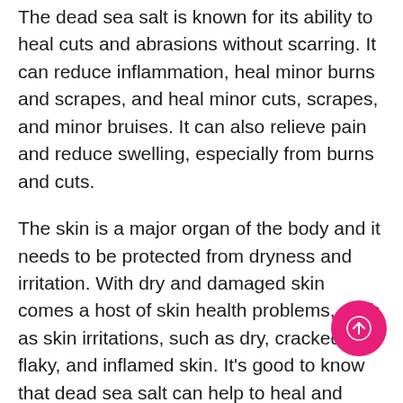The dead sea salt is known for its ability to heal cuts and abrasions without scarring. It can reduce inflammation, heal minor burns and scrapes, and heal minor cuts, scrapes, and minor bruises. It can also relieve pain and reduce swelling, especially from burns and cuts.
The skin is a major organ of the body and it needs to be protected from dryness and irritation. With dry and damaged skin comes a host of skin health problems, such as skin irritations, such as dry, cracked, flaky, and inflamed skin. It's good to know that dead sea salt can help to heal and protect the skin from these problems and more.
The healthy body fluids, which are essential to keeping your skin hydrated, help to promote